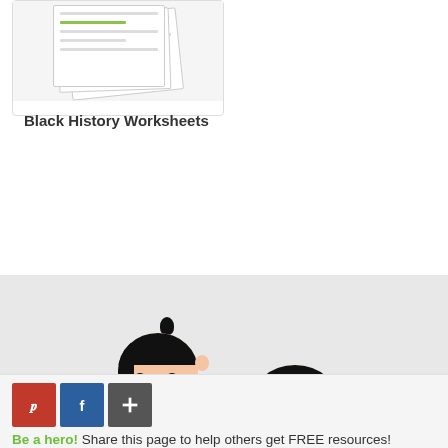[Figure (illustration): Thumbnail card showing stacked Black History Worksheets pages]
Black History Worksheets
1  2  3  4  »
[Figure (illustration): Two cartoon children characters peeking up from the bottom, shown from head level up, on a light gray background]
Be a hero! Share this page to help others get FREE resources!